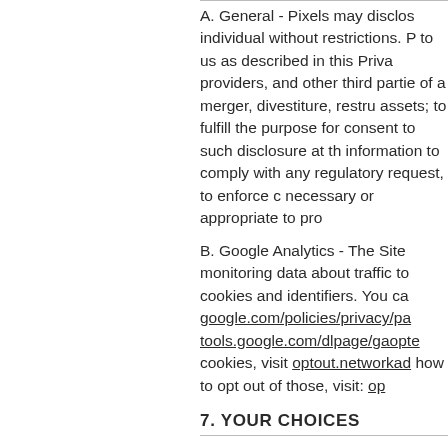A. General - Pixels may disclose individual without restrictions. P to us as described in this Priva providers, and other third partie of a merger, divestiture, restru assets; to fulfill the purpose for consent to such disclosure at th information to comply with any regulatory request, to enforce c necessary or appropriate to pro
B. Google Analytics - The Site monitoring data about traffic to cookies and identifiers. You ca google.com/policies/privacy/pa tools.google.com/dlpage/gaopt cookies, visit optout.networkad how to opt out of those, visit: op
7. YOUR CHOICES
A. Do Not Track - Our Site does
B. Tracking Technologies - You cookies are being sent. If you d may not function properly.
C. (partially visible)